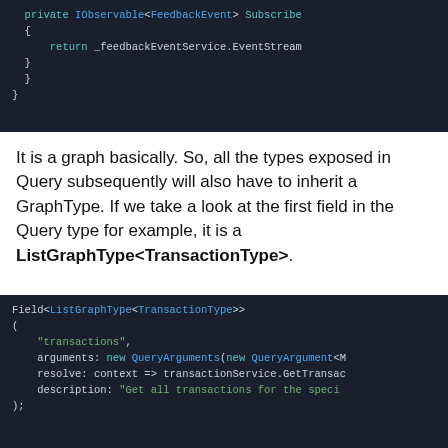[Figure (screenshot): Code block showing C# code with private IObservable<FeedbackEvent> Subscribe method returning _feedbackEventService.EventStream, with closing braces]
It is a graph basically. So, all the types exposed in Query subsequently will also have to inherit a GraphType. If we take a look at the first field in the Query type for example, it is a ListGraphType<TransactionType>.
[Figure (screenshot): Code block showing Field<ListGraphType<TransactionType>> with arguments new QueryArguments(new QueryArgument<M..., resolve: context => transactionService.GetTransac..., description: "Get all transactions for the speci..."]